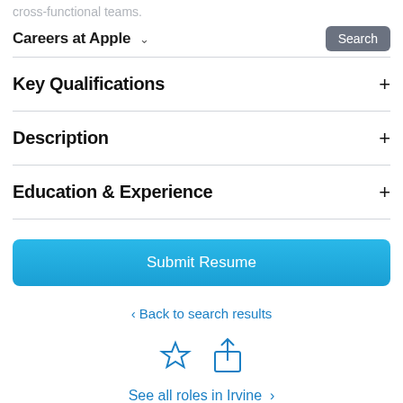cross-functional teams.
Careers at Apple  Search
Key Qualifications
Description
Education & Experience
Submit Resume
‹ Back to search results
[Figure (illustration): Star (bookmark) icon and share icon in blue outline style]
See all roles in Irvine ›